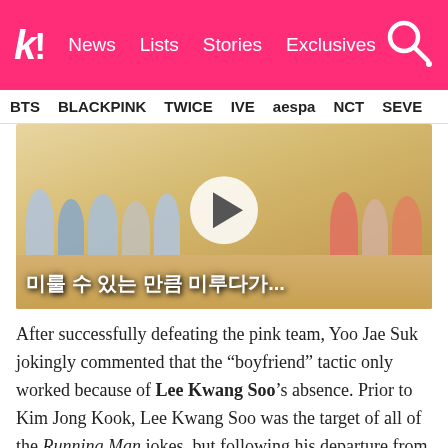k! News Lists Stories Exclusives
BTS BLACKPINK TWICE IVE aespa NCT SEVE
[Figure (screenshot): Video thumbnail showing a group of people sitting on the floor in a traditional Korean room, wearing blue team shirts, with a play button overlay. Korean subtitle text reads: 미룰 수 있는 만큼 미루다가...]
After successfully defeating the pink team, Yoo Jae Suk jokingly commented that the "boyfriend" tactic only worked because of Lee Kwang Soo's absence. Prior to Kim Jong Kook, Lee Kwang Soo was the target of all of the Running Man jokes, but following his departure from the show, it seems that Kim Jong Kook has become the new "victim."